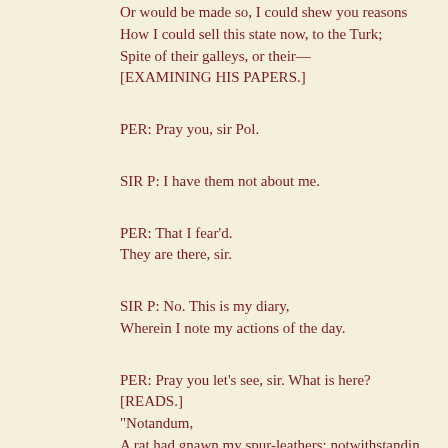Or would be made so, I could shew you reasons
How I could sell this state now, to the Turk;
Spite of their galleys, or their—
[EXAMINING HIS PAPERS.]
PER: Pray you, sir Pol.
SIR P: I have them not about me.
PER: That I fear'd.
They are there, sir.
SIR P: No. This is my diary,
Wherein I note my actions of the day.
PER: Pray you let's see, sir. What is here?
[READS.]
"Notandum,
A rat had gnawn my spur-leathers; notwithstanding
I put on new, and did go forth: but first
I threw three beans over the threshold. Item,
I went and bought two tooth-picks, whereof one
I burst immediatly, in a discourse
With a Dutch merchant, 'bout ragion del stato.
From him I went and paid a moccinigo,
For piecing my silk stockings; by the way